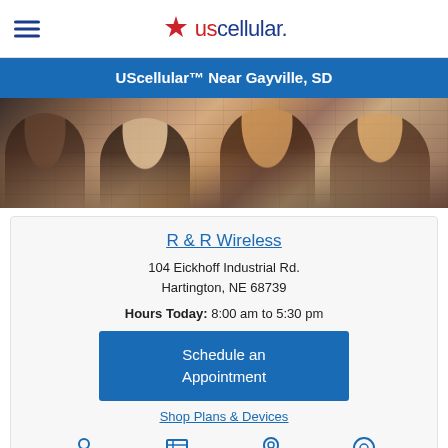USCellular logo header with hamburger menu
UScellular™ Near Gayville, SD
[Figure (photo): Hero photo of four smiling women in front of a brick wall]
R & R Wireless
104 Eickhoff Industrial Rd.
Hartington, NE 68739
Hours Today: 8:00 am to 5:30 pm
Schedule an Appointment
Shop Plans & Devices